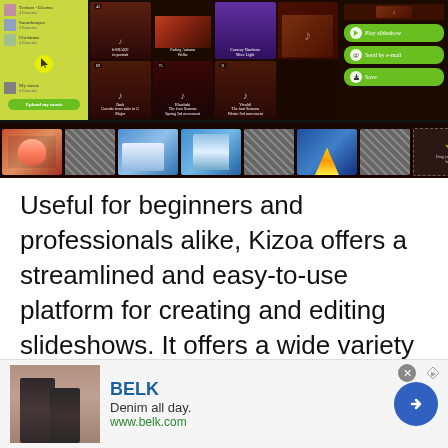[Figure (screenshot): Screenshot of Kizoa slideshow creation interface showing music library sidebar, photo grid with music tracks (Bach, Vivaldi, Khachabi, b-SHAKE, Fading Autumn, Conway Hambone), action buttons (Play slideshow, Send by e-mail, Save), and a film strip at bottom with holiday photos]
Useful for beginners and professionals alike, Kizoa offers a streamlined and easy-to-use platform for creating and editing slideshows. It offers a wide variety of features, most of which are available through a free account, including photo, video, and music integration, while
[Figure (screenshot): Advertisement banner for BELK - Denim all day. www.belk.com with an image of a woman in denim and a blue arrow button]